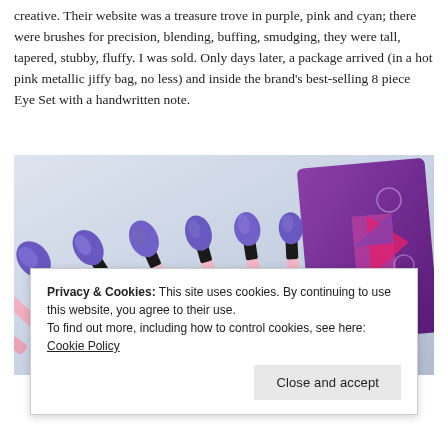creative. Their website was a treasure trove in purple, pink and cyan; there were brushes for precision, blending, buffing, smudging, they were tall, tapered, stubby, fluffy. I was sold. Only days later, a package arrived (in a hot pink metallic jiffy bag, no less) and inside the brand's best-selling 8 piece Eye Set with a handwritten note.
[Figure (photo): Photo of 8 makeup brushes with purple/blue bristles and pink handles fanned out, next to a purple Spectrum cosmetics box with geometric design.]
Privacy & Cookies: This site uses cookies. By continuing to use this website, you agree to their use.
To find out more, including how to control cookies, see here: Cookie Policy